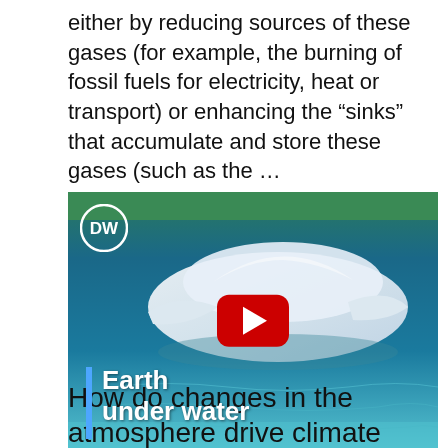either by reducing sources of these gases (for example, the burning of fossil fuels for electricity, heat or transport) or enhancing the “sinks” that accumulate and store these gases (such as the …
[Figure (screenshot): YouTube video thumbnail showing a futuristic white floating structure on turquoise water, with a DW logo in top-left corner, a red play button in the center, a blue vertical bar with text 'Earth under water' in the bottom-left.]
How do changes in the atmosphere drive climate change and other changes